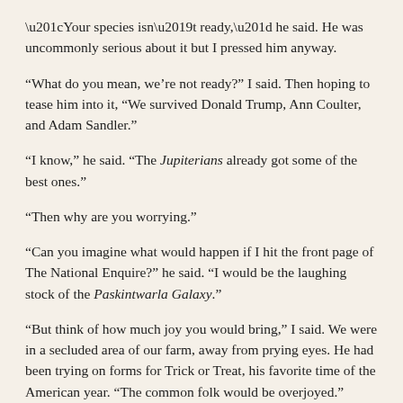“Your species isn’t ready,” he said. He was uncommonly serious about it but I pressed him anyway.
“What do you mean, we’re not ready?” I said. Then hoping to tease him into it, “We survived Donald Trump, Ann Coulter, and Adam Sandler.”
“I know,” he said. “The Jupiterians already got some of the best ones.”
“Then why are you worrying.”
“Can you imagine what would happen if I hit the front page of The National Enquire?” he said. “I would be the laughing stock of the Paskintwarla Galaxy.”
“But think of how much joy you would bring,” I said. We were in a secluded area of our farm, away from prying eyes. He had been trying on forms for Trick or Treat, his favorite time of the American year. “The common folk would be overjoyed.”